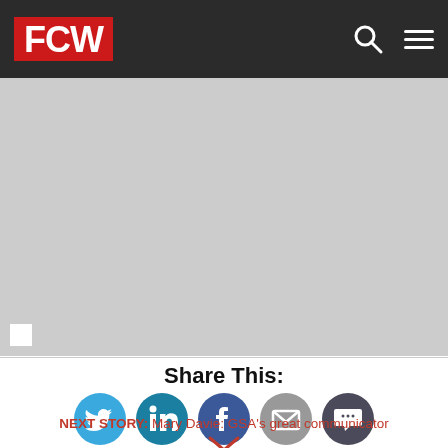FCW
[Figure (photo): Gray placeholder image area below navigation bar]
Share This:
[Figure (infographic): Social sharing icons: Twitter, LinkedIn, Facebook, Email, Comment]
NEXT STORY: Mary Davie: GSA's great communicator